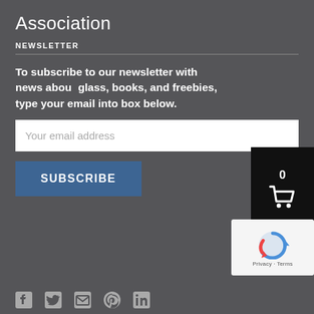Association
NEWSLETTER
To subscribe to our newsletter with news about glass, books, and freebies, type your email into box below.
Your email address
SUBSCRIBE
[Figure (screenshot): Black cart overlay with number 0 and shopping cart icon]
[Figure (screenshot): reCAPTCHA widget with Privacy and Terms links]
[Figure (infographic): Social media icons: Facebook, Twitter, email, Pinterest, LinkedIn]